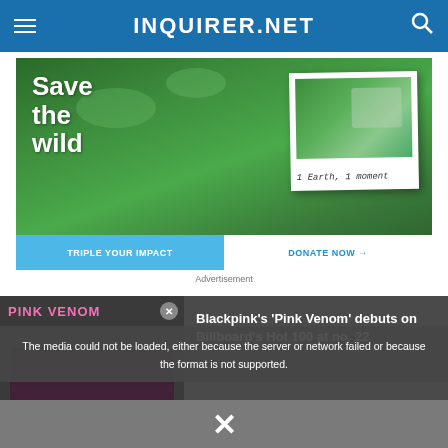INQUIRER.NET
[Figure (photo): Advertisement image showing aerial view of forest with text 'Save the wild' and polaroid photo with caption '1 Earth, 1 moment'. Bottom bar with 'TRIPLE YOUR IMPACT' and 'DONATE NOW →']
Advertisement
[Figure (screenshot): Video player showing Blackpink's 'Pink Venom' with error message: 'The media could not be loaded, either because the server or network failed or because the format is not supported.' Article title: Blackpink's 'Pink Venom' debuts on Billboard's Hot 100 at no. 22]
The media could not be loaded, either because the server or network failed or because the format is not supported.